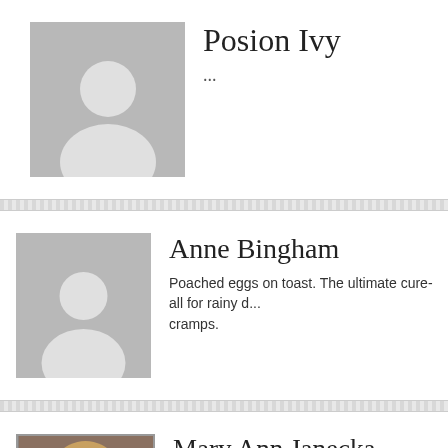[Figure (photo): Placeholder avatar silhouette for Posion Ivy]
Posion Ivy
...
[Figure (photo): Placeholder avatar silhouette for Anne Bingham]
Anne Bingham
Poached eggs on toast. The ultimate cure-all for rainy days and cramps.
[Figure (photo): Photo of Mary Ann Janecka, a woman with blonde hair]
Mary Ann Janecka
Really delightful site, Nikki. This looks like such a precious. Chicken Fried Steak (or kids often prefer the steak finger